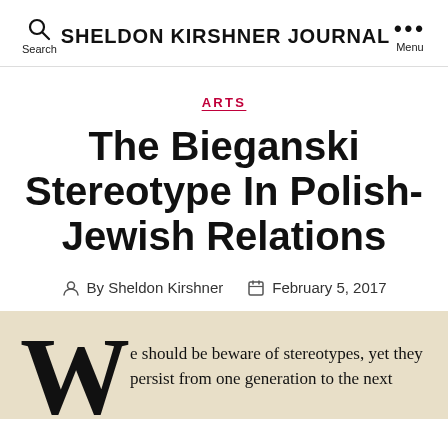SHELDON KIRSHNER JOURNAL
ARTS
The Bieganski Stereotype In Polish-Jewish Relations
By Sheldon Kirshner  February 5, 2017
We should be beware of stereotypes, yet they persist from one generation to the next